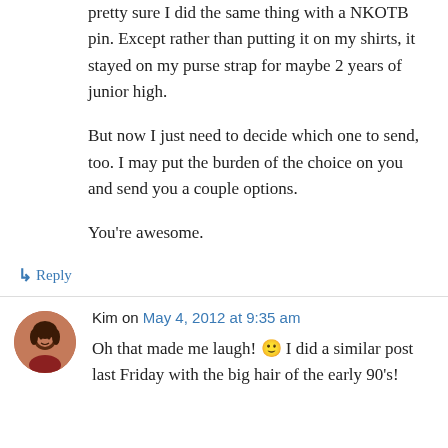pretty sure I did the same thing with a NKOTB pin. Except rather than putting it on my shirts, it stayed on my purse strap for maybe 2 years of junior high.
But now I just need to decide which one to send, too. I may put the burden of the choice on you and send you a couple options.
You’re awesome.
↳ Reply
Kim on May 4, 2012 at 9:35 am
Oh that made me laugh! 🙂 I did a similar post last Friday with the big hair of the early 90’s!